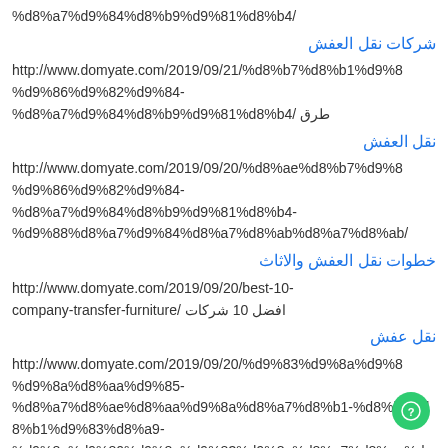%d8%a7%d9%84%d8%b9%d9%81%d8%b4/
شركات نقل العفش
http://www.domyate.com/2019/09/21/%d8%b7%d8%b1%d9%86%d9%82%d9%84-%d8%a7%d9%84%d8%b9%d9%81%d8%b4/ طرق
نقل العفش
http://www.domyate.com/2019/09/20/%d8%ae%d8%b7%d9%88%d9%86%d9%82%d9%84-%d8%a7%d9%84%d8%b9%d9%81%d8%b4-%d8%88%d8%a7%d9%84%d8%a7%d8%ab%d8%a7%d8%ab/
خطوات نقل العفش والاثاث
http://www.domyate.com/2019/09/20/best-10-company-transfer-furniture/ افضل 10 شركات
نقل عفش
http://www.domyate.com/2019/09/20/%d9%83%d9%8a%d9%8a%d9%8a%d9%8a%d8%a7%d9%87%d8%a7%d9%85%d9%83%d8%a7%d9%84%d9%83%d9%83%d9%83%d8%a8%d1%9a%d8%a7%d9%85-%d8%a7%d8%ae%d9%88%d8%a7%d8%a7%d9%8a%d8%a7%d8%b1-%d8%a7%d8%b1%d9%91%d8%b4%d8%b1%d8%a7%d9%83%d8%a7%d8%a7%d9%83%d8%a7%d9%83-%d9%88%d9%8a%d9%86%d9%81%d9%8a%d8%b4%d8%a7%d8%af%d9%84-%d8%a8%d8%af%d8%a8%d9%84%d8%b1%d8%a7%d9%84%d8%b4%d9%87%d8%a7%d8%af%d8%a9%d8%a7%d9%84%d8%a3%d8%b3%d9%80%d9%80%d9%80%d8%af%d9%8a%d9%87%d8%a7%d8%aa%d8%a7%d9%87%d8%a7-%d9%82%d8%b3%d9%85%d9%88%d9%85%d9%81%d9%80%d9%80%d9%80%d9%80%d9%88-7%d9%95